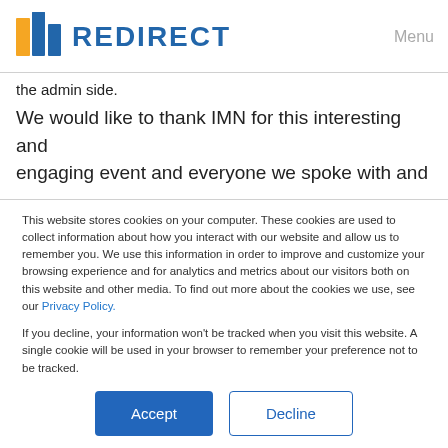REDIRECT — Menu
the admin side.
We would like to thank IMN for this interesting and engaging event and everyone we spoke with and
This website stores cookies on your computer. These cookies are used to collect information about how you interact with our website and allow us to remember you. We use this information in order to improve and customize your browsing experience and for analytics and metrics about our visitors both on this website and other media. To find out more about the cookies we use, see our Privacy Policy.
If you decline, your information won't be tracked when you visit this website. A single cookie will be used in your browser to remember your preference not to be tracked.